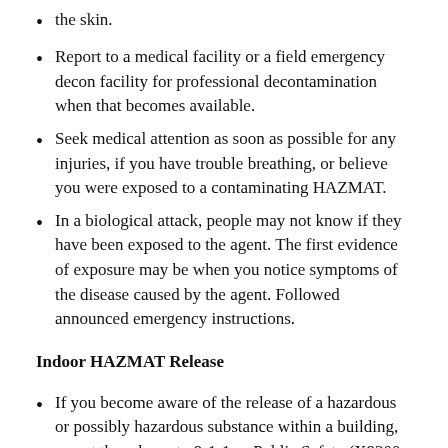the skin.
Report to a medical facility or a field emergency decon facility for professional decontamination when that becomes available.
Seek medical attention as soon as possible for any injuries, if you have trouble breathing, or believe you were exposed to a contaminating HAZMAT.
In a biological attack, people may not know if they have been exposed to the agent. The first evidence of exposure may be when you notice symptoms of the disease caused by the agent. Followed announced emergency instructions.
Indoor HAZMAT Release
If you become aware of the release of a hazardous or possibly hazardous substance within a building, report the release to 9-1-1 or Public Safety (X9300 main campus,